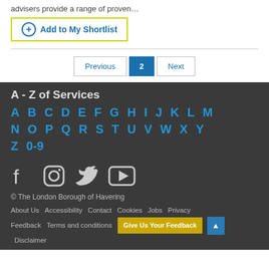advisers provide a range of proven…
Add to My Shortlist
Previous  2  Next
A - Z of Services
A B C D E F G H I J K L M N O P Q R S T U V W X Y Z 0-9
[Figure (other): Social media icons: Facebook, Instagram, Twitter, YouTube]
© The London Borough of Havering
About Us  Accessibility  Contact  Cookies  Jobs  Privacy  Feedback  Terms and conditions  Disclaimer
Give Us Your Feedback